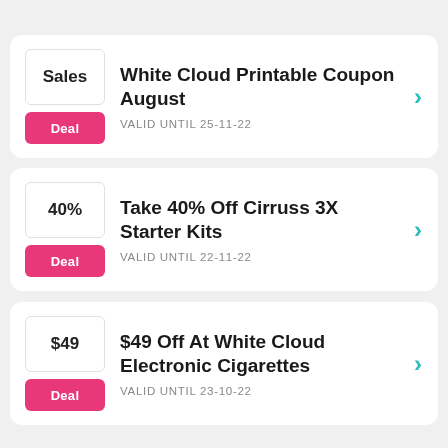White Cloud Printable Coupon August | VALID UNTIL 25-11-22 | Sales / Deal
Take 40% Off Cirruss 3X Starter Kits | VALID UNTIL 22-11-22 | 40% / Deal
$49 Off At White Cloud Electronic Cigarettes | VALID UNTIL 23-10-22 | $49 / Deal